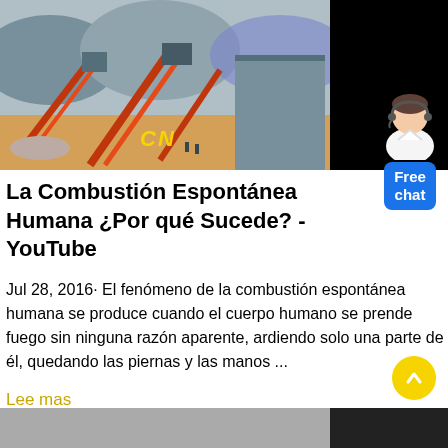[Figure (photo): Industrial mining/crushing equipment facility with conveyor belts and machinery, mountains in background, 'CN' watermark in yellow]
[Figure (illustration): Chat widget with female avatar in white jacket and blue headset, with blue 'Free chat' button below]
La Combustión Espontánea Humana ¿Por qué Sucede? - YouTube
Jul 28, 2016· El fenómeno de la combustión espontánea humana se produce cuando el cuerpo humano se prende fuego sin ninguna razón aparente, ardiendo solo una parte de él, quedando las piernas y las manos ...
Lee mas